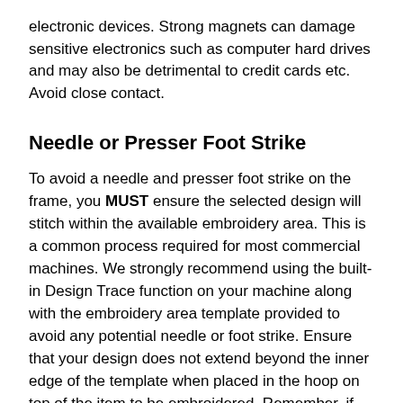electronic devices. Strong magnets can damage sensitive electronics such as computer hard drives and may also be detrimental to credit cards etc. Avoid close contact.
Needle or Presser Foot Strike
To avoid a needle and presser foot strike on the frame, you MUST ensure the selected design will stitch within the available embroidery area. This is a common process required for most commercial machines. We strongly recommend using the built-in Design Trace function on your machine along with the embroidery area template provided to avoid any potential needle or foot strike. Ensure that your design does not extend beyond the inner edge of the template when placed in the hoop on top of the item to be embroidered. Remember, if you move the start point of your design after checking the position, you should recheck using the trace function. You can download this template file and easily create more templates. We have also included a cutting file